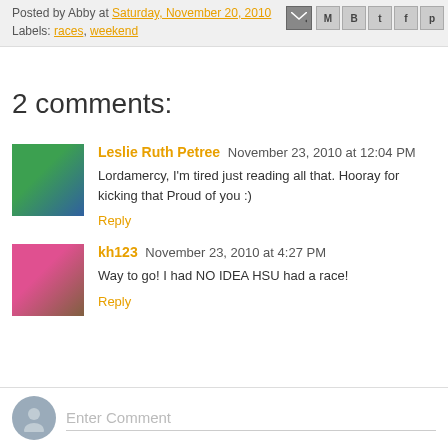Posted by Abby at Saturday, November 20, 2010
Labels: races, weekend
2 comments:
Leslie Ruth Petree  November 23, 2010 at 12:04 PM
Lordamercy, I'm tired just reading all that. Hooray for kicking that Proud of you :)
Reply
kh123  November 23, 2010 at 4:27 PM
Way to go! I had NO IDEA HSU had a race!
Reply
Enter Comment